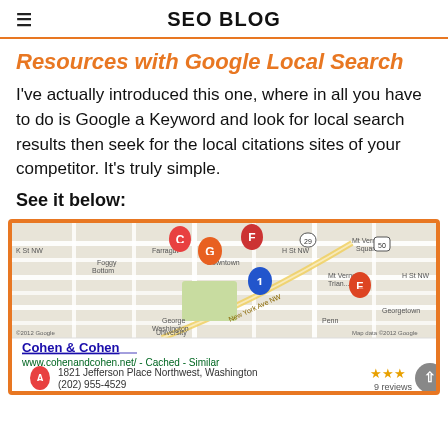SEO BLOG
Resources with Google Local Search
I've actually introduced this one, where in all you have to do is Google a Keyword and look for local search results then seek for the local citations sites of your competitor. It's truly simple.
See it below:
[Figure (screenshot): Google Maps screenshot showing local search results for Washington DC area with letter pins (C, F, G, E, 1) marking business locations, overlaid on a street map. Below the map shows a local listing for Cohen & Cohen with address 1821 Jefferson Place Northwest, Washington, phone (202) 955-4529, and 9 reviews with star rating. URL shown: www.cohenandcohen.net/ - Cached - Similar.]